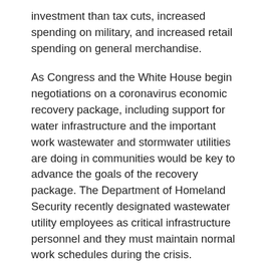investment than tax cuts, increased spending on military, and increased retail spending on general merchandise.
As Congress and the White House begin negotiations on a coronavirus economic recovery package, including support for water infrastructure and the important work wastewater and stormwater utilities are doing in communities would be key to advance the goals of the recovery package. The Department of Homeland Security recently designated wastewater utility employees as critical infrastructure personnel and they must maintain normal work schedules during the crisis.
Wastewater and stormwater utilities operate under very tight budgets under normal circumstances in order not to over burden ratepayers, particularly low-income households. Especially because water utilities across the country are doing their part to keep clean, safe, reliable, and affordable water service flowing and